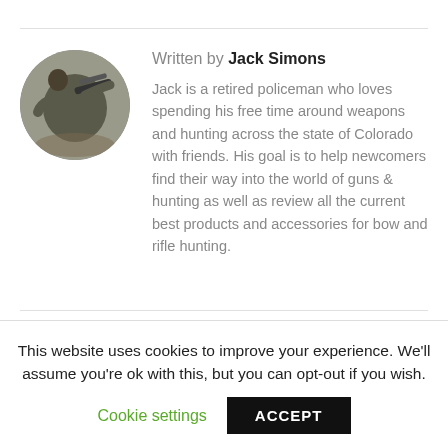Written by Jack Simons
[Figure (photo): Circular avatar photo of Jack Simons holding a scoped rifle outdoors]
Jack is a retired policeman who loves spending his free time around weapons and hunting across the state of Colorado with friends. His goal is to help newcomers find their way into the world of guns & hunting as well as review all the current best products and accessories for bow and rifle hunting.
LEAVE A COMMENT
This website uses cookies to improve your experience. We'll assume you're ok with this, but you can opt-out if you wish.
Cookie settings
ACCEPT